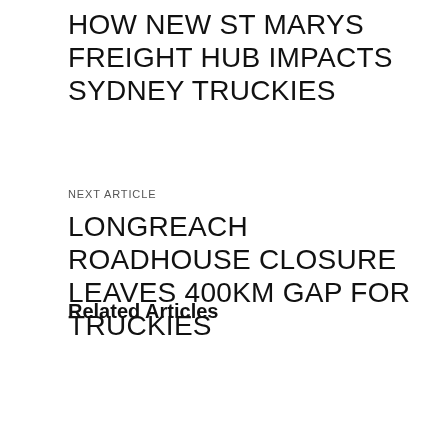HOW NEW ST MARYS FREIGHT HUB IMPACTS SYDNEY TRUCKIES
NEXT ARTICLE
LONGREACH ROADHOUSE CLOSURE LEAVES 400KM GAP FOR TRUCKIES
Related Articles